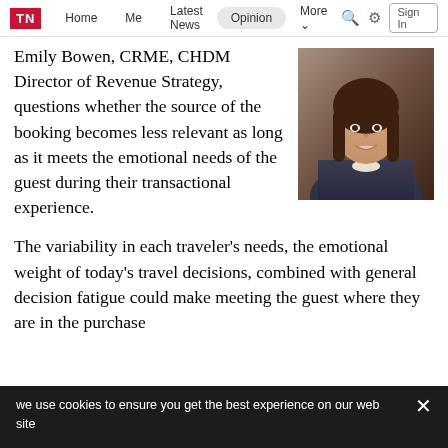TN | Home | Me | Latest News | Opinion | More
Emily Bowen, CRME, CHDM Director of Revenue Strategy, questions whether the source of the booking becomes less relevant as long as it meets the emotional needs of the guest during their transactional experience.
[Figure (photo): Professional headshot of Emily Bowen, a woman with long dark brown hair wearing a dark blazer, smiling against a brown background.]
The variability in each traveler's needs, the emotional weight of today's travel decisions, combined with general decision fatigue could make meeting the guest where they are in the purchase
we use cookies to ensure you get the best experience on our website ×